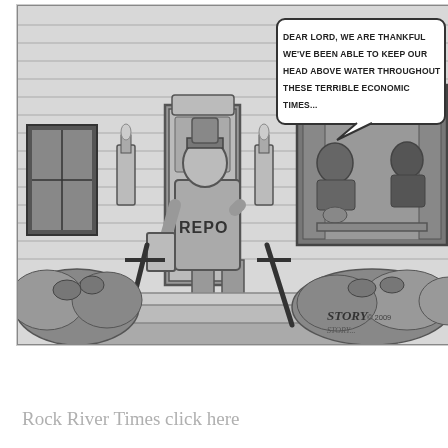[Figure (illustration): A black and white political cartoon showing a repo man wearing a jacket labeled 'REPO' approaching the front door of a house. Through a window, two people are seated at a dinner table with a chandelier, praying. A speech bubble reads: 'DEAR LORD, WE ARE THANKFUL WE'VE BEEN ABLE TO KEEP OUR HEAD ABOVE WATER THROUGHOUT THESE TERRIBLE ECONOMIC TIMES...' Shrubs flank the front steps. Signed 'STORY © 2009'.]
Rock River Times click here